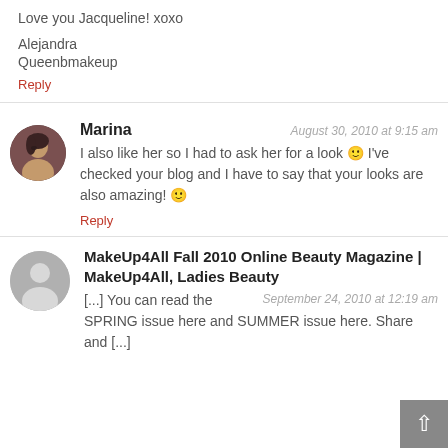Love you Jacqueline! xoxo
Alejandra
Queenbmakeup
Reply
Marina — August 30, 2010 at 9:15 am
I also like her so I had to ask her for a look 🙂 I've checked your blog and I have to say that your looks are also amazing! 🙂
Reply
MakeUp4All Fall 2010 Online Beauty Magazine | MakeUp4All, Ladies Beauty
September 24, 2010 at 12:19 am
[...] You can read the SPRING issue here and SUMMER issue here. Share and [...]